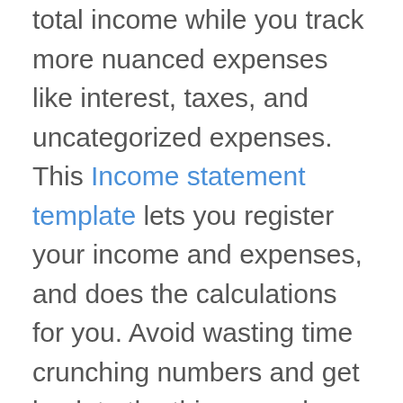total income while you track more nuanced expenses like interest, taxes, and uncategorized expenses. This Income statement template lets you register your income and expenses, and does the calculations for you. Avoid wasting time crunching numbers and get back to the things you love about your business. No more errors in your numbers. No more running it twice, just in case you missed something. This template takes the mathwork